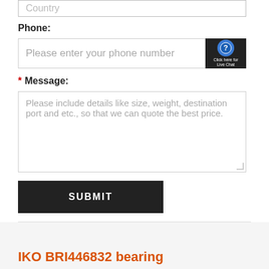Country
Phone:
Please enter your phone number
* Message:
Please include details like size, weight, destination port and etc., so that we can quote the best price.
SUBMIT
IKO BRI446832 bearing
Bearing number..
SEARCH